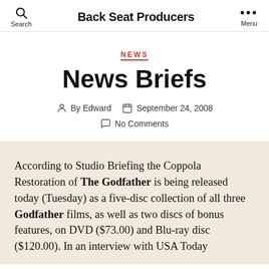Back Seat Producers
NEWS
News Briefs
By Edward  September 24, 2008  No Comments
According to Studio Briefing the Coppola Restoration of The Godfather is being released today (Tuesday) as a five-disc collection of all three Godfather films, as well as two discs of bonus features, on DVD ($73.00) and Blu-ray disc ($120.00). In an interview with USA Today